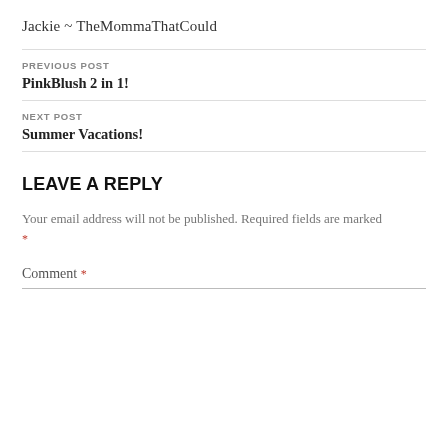Jackie ~ TheMommaThatCould
PREVIOUS POST
PinkBlush 2 in 1!
NEXT POST
Summer Vacations!
LEAVE A REPLY
Your email address will not be published. Required fields are marked *
Comment *